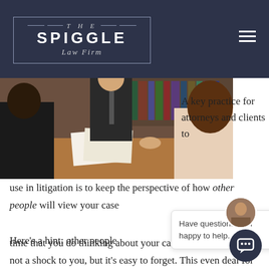THE SPIGGLE Law Firm
[Figure (photo): People sitting around a conference table in a law office, papers visible, bookshelves in background]
A key practice for attorneys and clients to use in litigation is to keep the perspective of how other people will view your case
Here's a hint: other people time that you do thinking about your case. That's probably not a shock to you, but it's easy to forget. This even deal for you. You know the ins and outs of each meeting, e-
Have questions? I'm happy to help.